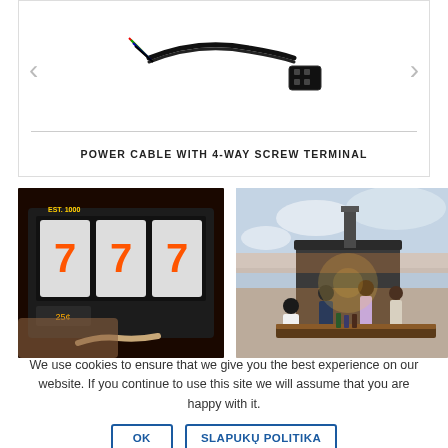[Figure (photo): Power cable with 4-way screw terminal connector shown with black cable and connector head, displayed in a product card with left/right navigation arrows]
POWER CABLE WITH 4-WAY SCREW TERMINAL
[Figure (photo): Slot machine with three 7s showing on reels, red/orange numbers, casino setting]
[Figure (photo): Rooftop bar scene with people standing and sitting, outdoor setting at sunset, building and sky in background]
We use cookies to ensure that we give you the best experience on our website. If you continue to use this site we will assume that you are happy with it.
OK     SLAPUKŲ POLITIKA